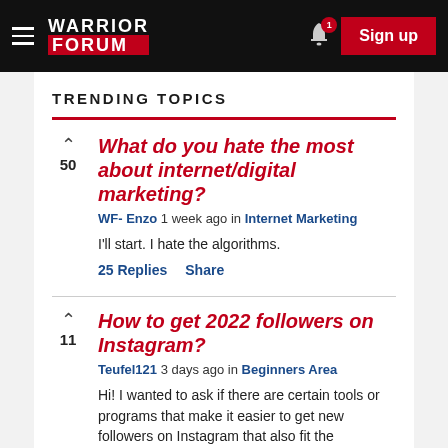[Figure (screenshot): Warrior Forum navigation bar with hamburger menu, logo, bell notification icon with badge '1', and red Sign up button]
TRENDING TOPICS
What do you hate the most about internet/digital marketing? WF- Enzo 1 week ago in Internet Marketing
I'll start. I hate the algorithms.
25 Replies   Share
How to get 2022 followers on Instagram? Teufel121 3 days ago in Beginners Area
Hi! I wanted to ask if there are certain tools or programs that make it easier to get new followers on Instagram that also fit the respective niche. Do you ... [read more]
8 Replies   Share